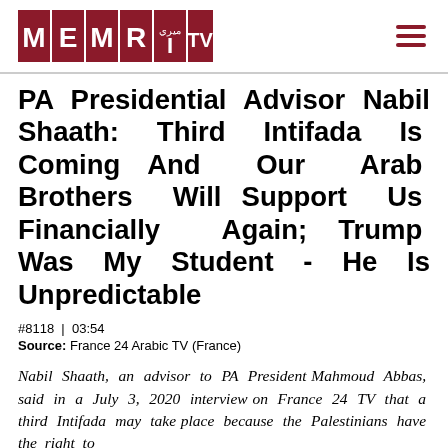MEMRI TV
PA Presidential Advisor Nabil Shaath: Third Intifada Is Coming And Our Arab Brothers Will Support Us Financially Again; Trump Was My Student - He Is Unpredictable
#8118 | 03:54
Source: France 24 Arabic TV (France)
Nabil Shaath, an advisor to PA President Mahmoud Abbas, said in a July 3, 2020 interview on France 24 TV that a third Intifada may take place because the Palestinians have the right to